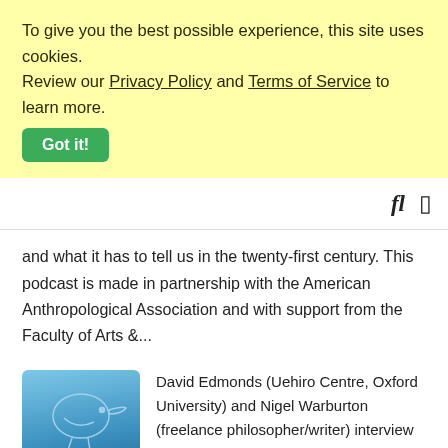To give you the best possible experience, this site uses cookies. Review our Privacy Policy and Terms of Service to learn more.
Got it!
[Figure (other): Navigation bar with search and menu icons]
and what it has to tell us in the twenty-first century. This podcast is made in partnership with the American Anthropological Association and with support from the Faculty of Arts &...
[Figure (illustration): Philosophy Bites podcast logo — blue square with a bird/kiwi outline and the text PHILOSOPHY BITES David Edmonds & Nigel Warburton]
David Edmonds (Uehiro Centre, Oxford University) and Nigel Warburton (freelance philosopher/writer) interview top philosophers on a wide range of topics. Two books based on the
series have been published by Oxford University Press. We are